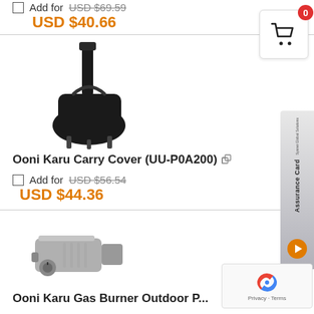Add for USD $69.59
USD $40.66
[Figure (photo): Ooni Karu pizza oven with carry cover, black bag with stand]
Ooni Karu Carry Cover (UU-P0A200)
Add for USD $56.54
USD $44.36
[Figure (photo): Gray mechanical component, appears to be a motor or gas burner attachment]
Ooni Karu Gas Burner Outdoor P...